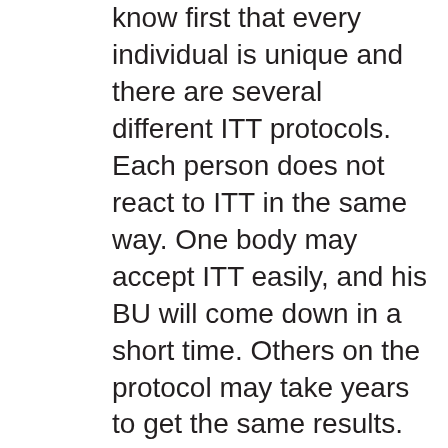know first that every individual is unique and there are several different ITT protocols. Each person does not react to ITT in the same way. One body may accept ITT easily, and his BU will come down in a short time. Others on the protocol may take years to get the same results. Numbers do not dictate that the treatment for one person will be the same as for another. For example, two brothers, both with severe hemophilia and inhibitors and with the same parents, can live very different lives with an inhibitor. My older son, Julian, was one year old when he was diagnosed with a low-titer inhibitor; it never rose above 5 BU. He immediately had a port inserted, and he started ITT for two and a half years. He tolerized, meaning his inhibitor dropped to zero, and he has never had an inhibitor resurface.
My younger son, Caeleb, was 11 months old when diagnosed with a high-titer inhibitor that registered over 2,200 BU. His titer dropped to 0 BU at one point after ITT, but now he is living with a low-titer inhibitor, and he receives factor daily to maintain his tolerance. My sons both reached 0 BU after ITT, but they had different outcomes.